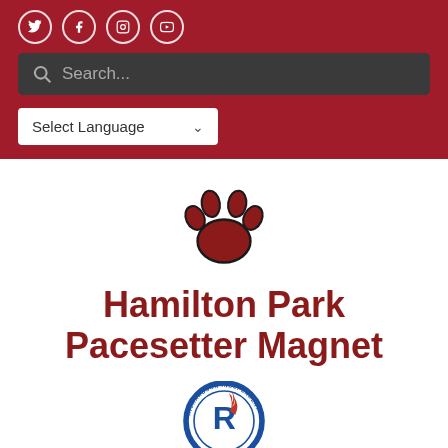[Figure (logo): Social media icons: Twitter, Facebook, Instagram, YouTube — white circular outline icons on dark red background]
[Figure (screenshot): Search bar with magnifying glass icon and placeholder text 'Search...' on dark grey background]
[Figure (other): Language selector dropdown with 'Select Language' text and chevron arrow on white background]
[Figure (logo): Red paw print logo (mascot) with dark outline on white background]
Hamilton Park Pacesetter Magnet
[Figure (logo): Richardson Independent School District circular logo with large blue 'R' and red flame, text 'RICHARDSON INDEPENDENT' around the border]